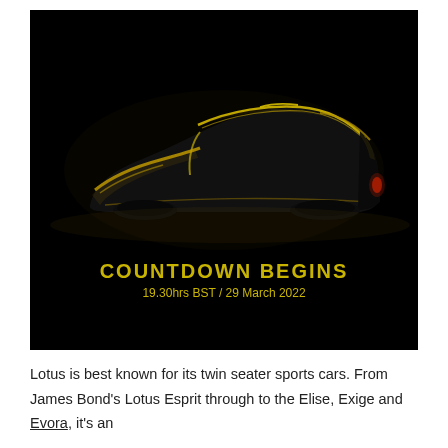[Figure (photo): Dark teaser image of a Lotus car silhouette illuminated in yellow/gold light against a black background, with text overlay 'COUNTDOWN BEGINS' and '19.30hrs BST / 29 March 2022']
Lotus is best known for its twin seater sports cars. From James Bond's Lotus Esprit through to the Elise, Exige and Evora, it's an